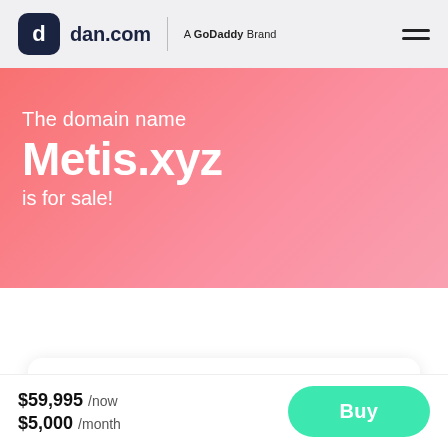dan.com | A GoDaddy Brand
The domain name Metis.xyz is for sale!
Get this domain
Buy for full USD $59,995 or pay monthly
$59,995 /now
$5,000 /month
Buy